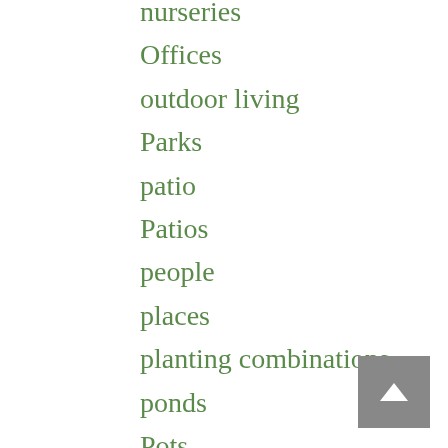nurseries
Offices
outdoor living
Parks
patio
Patios
people
places
planting combinations
ponds
Pots
raised beds
roof gardens
sculpture